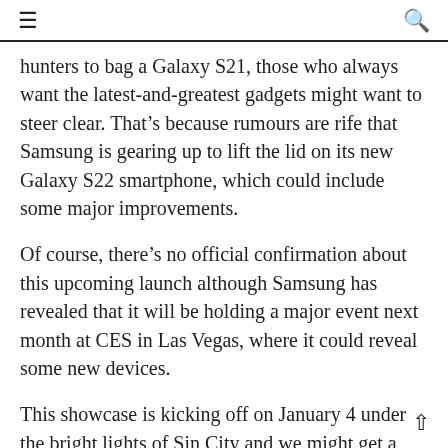≡  🔍
hunters to bag a Galaxy S21, those who always want the latest-and-greatest gadgets might want to steer clear. That's because rumours are rife that Samsung is gearing up to lift the lid on its new Galaxy S22 smartphone, which could include some major improvements.
Of course, there's no official confirmation about this upcoming launch although Samsung has revealed that it will be holding a major event next month at CES in Las Vegas, where it could reveal some new devices.
This showcase is kicking off on January 4 under the bright lights of Sin City and we might get a glimpse of what's to come from the ingenious smartphone team at Samsung.
If the Galaxy S22 is unveiled, expect a tweaked